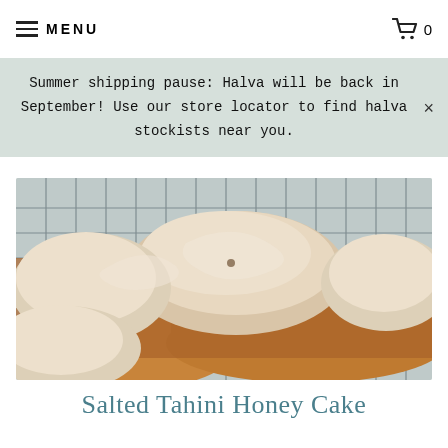MENU | 0
Summer shipping pause: Halva will be back in September! Use our store locator to find halva stockists near you.
Also in Recipes
[Figure (photo): Close-up photo of salted tahini honey cake slices with cream/tahini frosting on a wire cooling rack, showing golden-brown cake with thick swirled beige frosting on top]
Salted Tahini Honey Cake